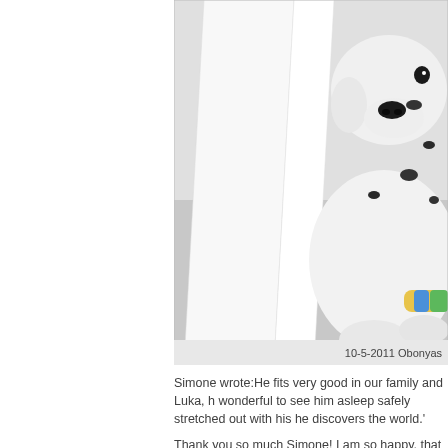[Figure (photo): A Dalmatian puppy peeking around a white panel/board, holding a colorful rope toy, lying on a light surface.]
10-5-2011 Obonyas
Simone wrote:He fits very good in our family and Luka, h... wonderful to see him asleep safely stretched out with his... he discovers the world.'
Thank you so much Simone! I am so happy, that all goes...